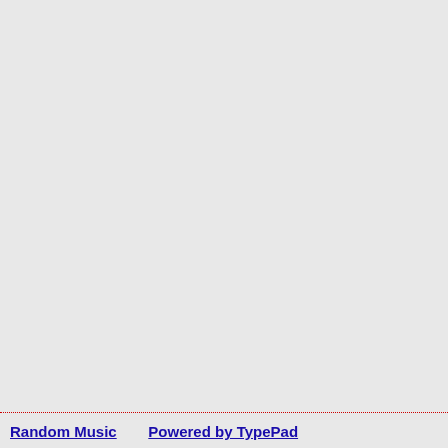dec
to
lea
it...
........
Posted on 04 May 2011 at 09: PM in Aga Chi Tor Adi | Per | Comments (1)
[Figure (other): Social sharing icons: Google, Twitter/social, Pinterest, another social icon]
Random Music    Powered by TypePad